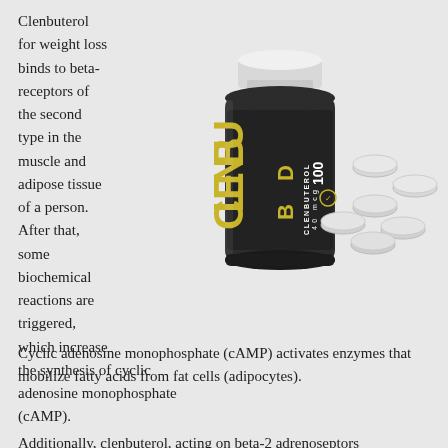Clenbuterol for weight loss binds to beta-receptors of the second type in the muscle and adipose tissue of a person. After that, some biochemical reactions are triggered, which increase the synthesis of cyclic adenosine monophosphate (cAMP).
[Figure (photo): A bottle of CLENBU BD Clenbuterol 40 mcg 100 tablets with several white round tablets scattered beside it]
Cyclic adenosine monophosphate (cAMP) activates enzymes that mobilize fatty acids from fat cells (adipocytes).
Additionally, clenbuterol, acting on beta-2 adrenoseptors